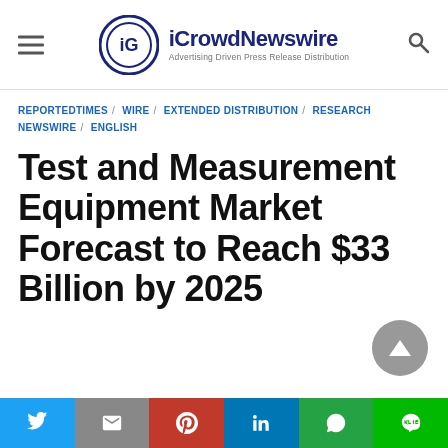iCrowdNewswire — Advertising Driven Press Release Distribution
REPORTEDTIMES / WIRE / EXTENDED DISTRIBUTION / RESEARCH NEWSWIRE / ENGLISH
Test and Measurement Equipment Market Forecast to Reach $33 Billion by 2025